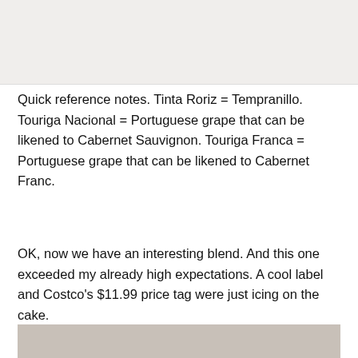[Figure (photo): Top portion of a photo, appears to be a wine bottle or similar product, cropped at the top of the page]
Quick reference notes. Tinta Roriz = Tempranillo. Touriga Nacional = Portuguese grape that can be likened to Cabernet Sauvignon. Touriga Franca = Portuguese grape that can be likened to Cabernet Franc.
OK, now we have an interesting blend. And this one exceeded my already high expectations. A cool label and Costco’s $11.99 price tag were just icing on the cake.
[Figure (photo): Bottom portion of a photo showing a wine bottle against a dark background with blue tones]